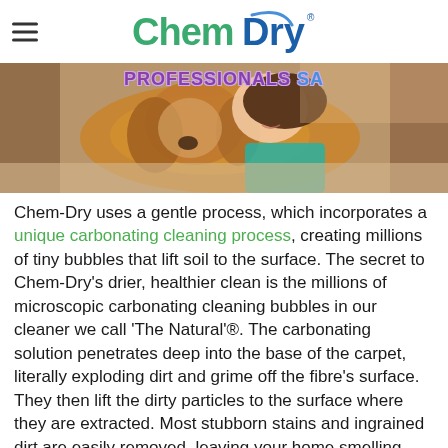Chem-Dry Professionals SA
[Figure (photo): A girl and a cocker spaniel dog lying together on a carpet, viewed from the front. The image has a warm brown tone with the dog's golden fur prominent. 'PROFESSIONALS SA' text overlay appears at the top of the image.]
Chem-Dry uses a gentle process, which incorporates a unique carbonating cleaning process, creating millions of tiny bubbles that lift soil to the surface. The secret to Chem-Dry's drier, healthier clean is the millions of microscopic carbonating cleaning bubbles in our cleaner we call 'The Natural'®. The carbonating solution penetrates deep into the base of the carpet, literally exploding dirt and grime off the fibre's surface. They then lift the dirty particles to the surface where they are extracted. Most stubborn stains and ingrained dirt are easily removed, leaving your home smelling fresh and dry in 1 – 2 hours as opposed to 1 – 2 days which is common in the